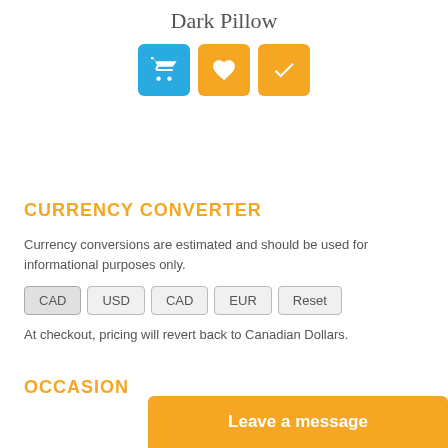Dark Pillow
[Figure (illustration): Three icon buttons in a row: a blue cart button, an orange heart button, and an orange checkmark button]
CURRENCY CONVERTER
Currency conversions are estimated and should be used for informational purposes only.
CAD | USD | CAD | EUR | Reset
At checkout, pricing will revert back to Canadian Dollars.
OCCASION
Leave a message